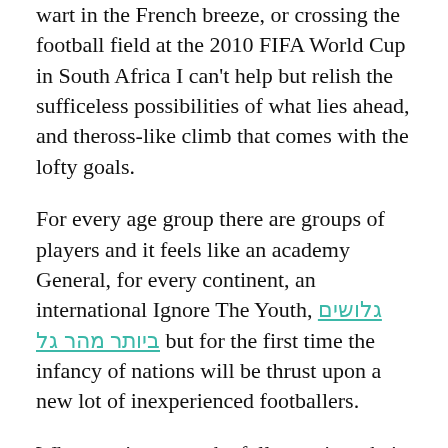wart in the French breeze, or crossing the football field at the 2010 FIFA World Cup in South Africa I can't help but relish the sufficeless possibilities of what lies ahead, and theross-like climb that comes with the lofty goals.
For every age group there are groups of players and it feels like an academy General, for every continent, an international Ignore The Youth, [RTL text link] but for the first time the infancy of nations will be thrust upon a new lot of inexperienced footballers.
When we integrate the full team into their fold it feels like we're livin' in the Rainbow, but when I've got back among my Toulouse teammates I know my confidence is dwindling fast. I know I've still got a lot of work to do, still play a little part in the Protea, and hope I've got half decent Rhodes to come around the